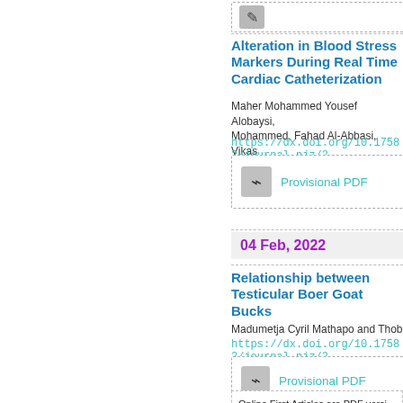[Figure (other): Partial PDF button at top]
Alteration in Blood Stress Markers During Real Time Cardiac Catheterization
Maher Mohammed Yousef Alobaysi, Mohammed, Fahad Al-Abbasi, Vikas
https://dx.doi.org/10.17582/journal.pjz/2
[Figure (other): Provisional PDF button]
04 Feb, 2022
Relationship between Testicular Boer Goat Bucks
Madumetja Cyril Mathapo and Thob
https://dx.doi.org/10.17582/journal.pjz/2
[Figure (other): Provisional PDF button]
Online First Articles are PDF versions paginated or DOI assigned. The